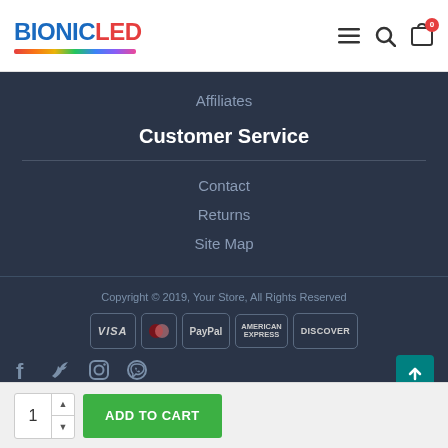BIONICLED
Affiliates
Customer Service
Contact
Returns
Site Map
Copyright © 2019, Your Store, All Rights Reserved
[Figure (logo): Payment icons: VISA, Mastercard, PayPal, American Express, Discover]
[Figure (logo): Social media icons: Facebook, Twitter, Instagram, WhatsApp]
ADD TO CART